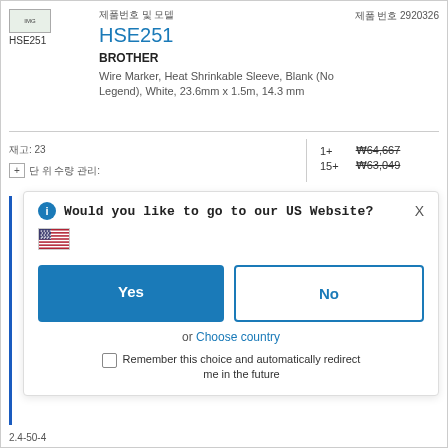[Figure (logo): Brother HSE251 product logo image thumbnail]
HSE251
제품 번호 2920326
HSE251
BROTHER
Wire Marker, Heat Shrinkable Sleeve, Blank (No Legend), White, 23.6mm x 1.5m, 14.3 mm
| 재고: | 수량 | 가격 |
| --- | --- | --- |
| 재고: 23 | 1+ | ₩64,667 |
|  | 15+ | ₩63,049 |
Would you like to go to our US Website?
Yes
No
or Choose country
Remember this choice and automatically redirect me in the future
2.4-50-4